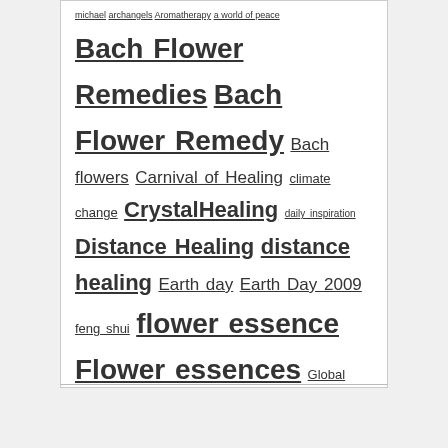michael archangels Aromatherapy a world of peace
Bach Flower Remedies Bach Flower Remedy Bach flowers Carnival of Healing climate change CrystalHealing daily inspiration Distance Healing distance healing Earth day Earth Day 2009 feng shui flower essence Flower essences Global Warming healing healing crystal healing with flower essence holistic healing homeopathy inspiration natural healing oneness peace pictures of world peace poetry reiki Reiki blog Reiki principles Saint Francis of Assisi Self Healing Usui Reiki Wayne Dyer where to find bach flowers world healing world peace Yoga